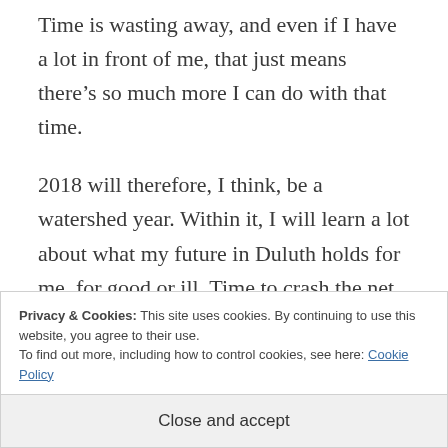Time is wasting away, and even if I have a lot in front of me, that just means there's so much more I can do with that time.
2018 will therefore, I think, be a watershed year. Within it, I will learn a lot about what my future in Duluth holds for me, for good or ill. Time to crash the net.
Privacy & Cookies: This site uses cookies. By continuing to use this website, you agree to their use.
To find out more, including how to control cookies, see here: Cookie Policy
Close and accept